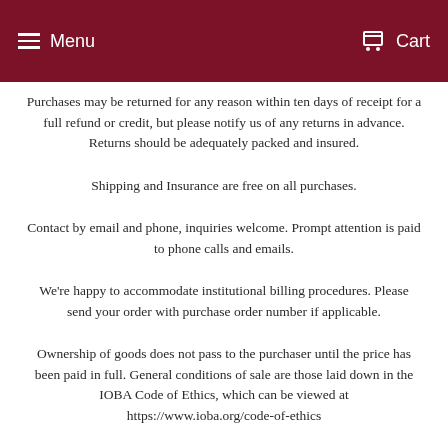Menu  Cart
Purchases may be returned for any reason within ten days of receipt for a full refund or credit, but please notify us of any returns in advance. Returns should be adequately packed and insured.
Shipping and Insurance are free on all purchases.
Contact by email and phone, inquiries welcome. Prompt attention is paid to phone calls and emails.
We're happy to accommodate institutional billing procedures. Please send your order with purchase order number if applicable.
Ownership of goods does not pass to the purchaser until the price has been paid in full. General conditions of sale are those laid down in the IOBA Code of Ethics, which can be viewed at https://www.ioba.org/code-of-ethics...